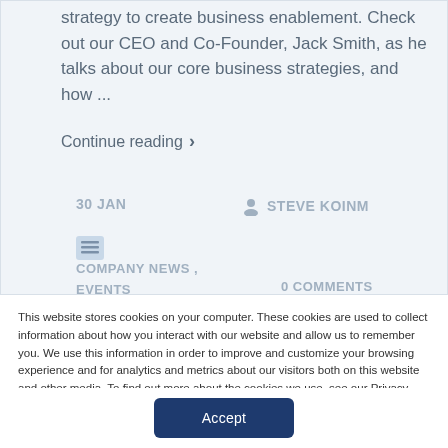strategy to create business enablement. Check out our CEO and Co-Founder, Jack Smith, as he talks about our core business strategies, and how ...
Continue reading ›
30 JAN
STEVE KOINM
COMPANY NEWS , EVENTS
0 COMMENTS
This website stores cookies on your computer. These cookies are used to collect information about how you interact with our website and allow us to remember you. We use this information in order to improve and customize your browsing experience and for analytics and metrics about our visitors both on this website and other media. To find out more about the cookies we use, see our Privacy Policy.
Accept